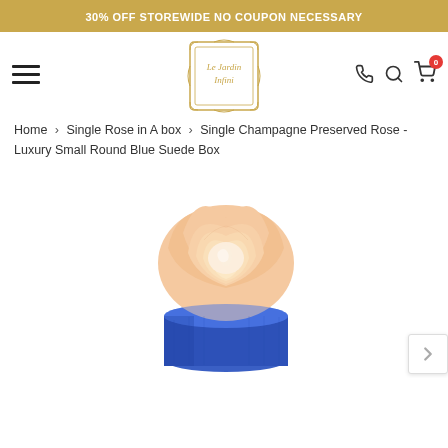30% OFF STOREWIDE NO COUPON NECESSARY
[Figure (logo): Le Jardin Infini logo — ornate gold frame with script text]
Home > Single Rose in A box > Single Champagne Preserved Rose - Luxury Small Round Blue Suede Box
[Figure (photo): A champagne/peach preserved rose in a small round blue suede box, viewed from slightly above. The rose is fully bloomed with soft peach-pink petals, and the box is a vivid cobalt blue cylindrical suede container.]